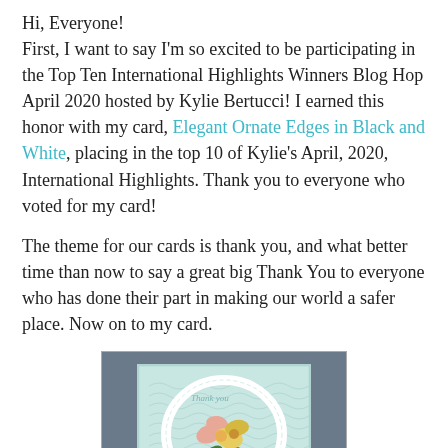Hi, Everyone!
First, I want to say I'm so excited to be participating in the Top Ten International Highlights Winners Blog Hop April 2020 hosted by Kylie Bertucci! I earned this honor with my card, Elegant Ornate Edges in Black and White, placing in the top 10 of Kylie's April, 2020, International Highlights. Thank you to everyone who voted for my card!
The theme for our cards is thank you, and what better time than now to say a great big Thank You to everyone who has done their part in making our world a safer place. Now on to my card.
[Figure (photo): A handmade greeting card displayed against a dark gray background. The card has a mint/teal colored front with a decorative oval border and flowers (daffodil-like blooms in peach/salmon, yellow, and green leaves) arranged in the center.]